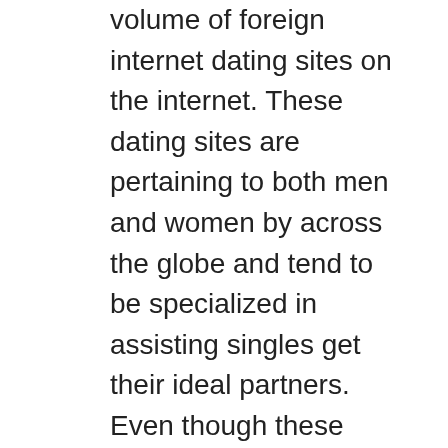volume of foreign internet dating sites on the internet. These dating sites are pertaining to both men and women by across the globe and tend to be specialized in assisting singles get their ideal partners. Even though these sites have got gained much popularity, that they still encounter several difficulties that are not faced by the widely used national providers. This is the reason why a large number of people who have decided to register having a premium intercontinental https://elite-brides.com/irish-brides online dating site have experienced a great deal of problems when it comes to truly meeting someone from in another country. Here are some tips method increase your probability of finding a compatible partner